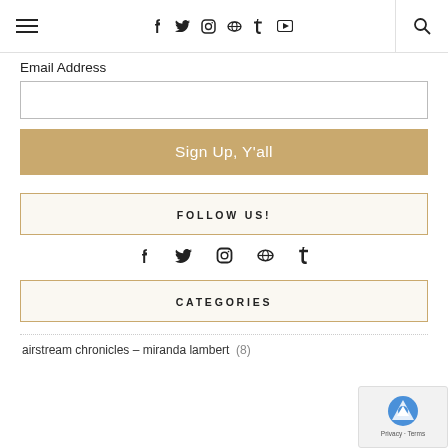Navigation bar with hamburger menu, social icons (f, t, instagram, pinterest, tumblr, youtube), and search icon
Email Address
[Figure (screenshot): Email address input text field (empty)]
Sign Up, Y'all
FOLLOW US!
[Figure (infographic): Social media icons row: facebook, twitter, instagram, pinterest, tumblr]
CATEGORIES
airstream chronicles – miranda lambert (8)